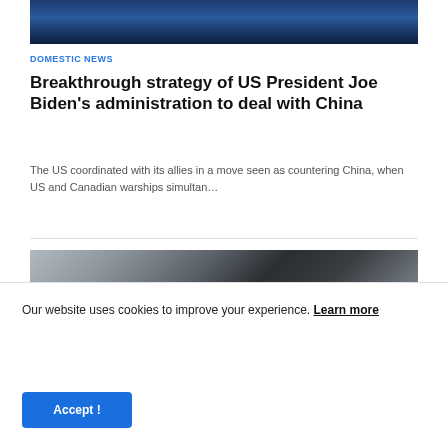[Figure (photo): Aerial view of naval warship on blue ocean water]
DOMESTIC NEWS
Breakthrough strategy of US President Joe Biden's administration to deal with China
The US coordinated with its allies in a move seen as countering China, when US and Canadian warships simultan…
[Figure (photo): Military jet aircraft flying against cloudy sky]
Our website uses cookies to improve your experience. Learn more
Accept !